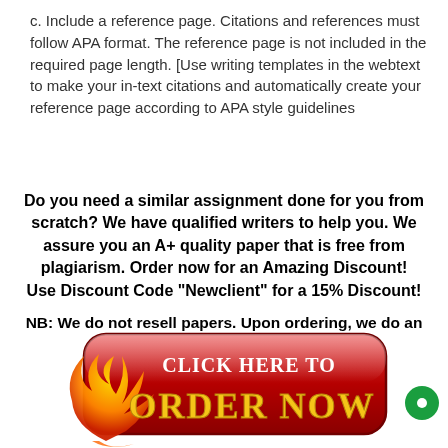c. Include a reference page. Citations and references must follow APA format. The reference page is not included in the required page length. [Use writing templates in the webtext to make your in-text citations and automatically create your reference page according to APA style guidelines
Do you need a similar assignment done for you from scratch? We have qualified writers to help you. We assure you an A+ quality paper that is free from plagiarism. Order now for an Amazing Discount! Use Discount Code "Newclient" for a 15% Discount!

NB: We do not resell papers. Upon ordering, we do an original paper exclusively for you.
[Figure (illustration): Large red glossy rounded-rectangle button with flame/arrow decoration on left. Top line reads 'Click Here To' in white serif text; bottom line reads 'Order Now' in large gold/yellow bold text. A green circle with white dot appears at bottom right of page.]